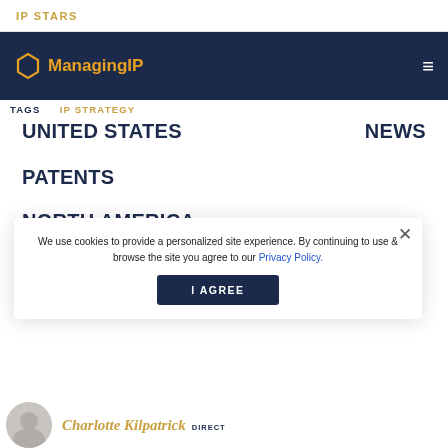IP STARS
[Figure (logo): Managing IP logo with hexagon icon on dark navy navigation bar]
TAGS   IP STRATEGY
UNITED STATES   NEWS
PATENTS
NORTH AMERICA
NORTH AMERICA
JURISDICTIONS
We use cookies to provide a personalized site experience. By continuing to use & browse the site you agree to our Privacy Policy.
I AGREE
Charlotte Kilpatrick  DIRECT